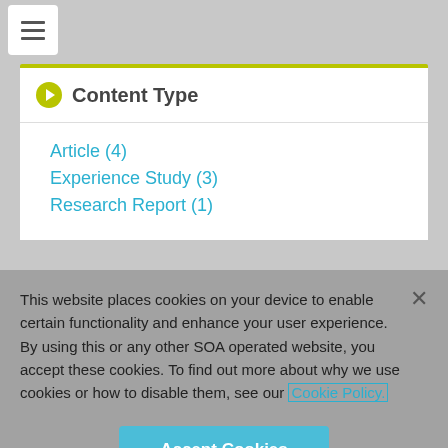[Figure (other): Hamburger menu icon (three horizontal lines) in a white rounded square button on gray background]
Content Type
Article (4)
Experience Study (3)
Research Report (1)
This website places cookies on your device to enable certain functionality and enhance your user experience. By using this or any other SOA operated website, you accept these cookies. To find out more about why we use cookies or how to disable them, see our Cookie Policy.
Accept Cookies